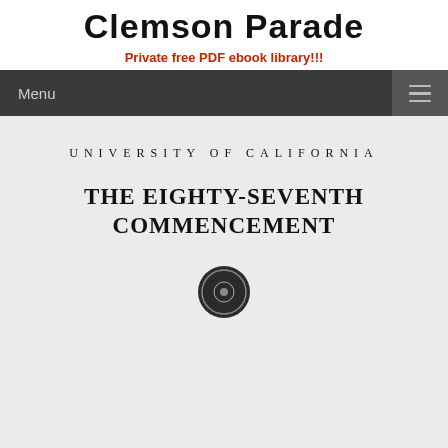Clemson Parade
Private free PDF ebook library!!!
Menu
UNIVERSITY OF CALIFORNIA
THE EIGHTY-SEVENTH COMMENCEMENT
[Figure (illustration): University seal/emblem, circular, dark, partially visible at bottom of page]